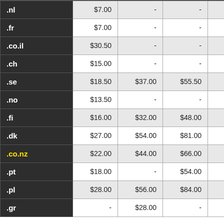| TLD | Col1 | Col2 | Col3 | Col4 |
| --- | --- | --- | --- | --- |
| .nl | $7.00 | - | - |  |
| .fr | $7.00 | - | - |  |
| .co.il | $30.50 | - | - |  |
| .ch | $15.00 | - | - |  |
| .se | $18.50 | $37.00 | $55.50 | $7... |
| .no | $13.50 | - | - |  |
| .fi | $16.00 | $32.00 | $48.00 | $6... |
| .dk | $27.00 | $54.00 | $81.00 |  |
| .co.nz | $22.00 | $44.00 | $66.00 | $8... |
| .pt | $18.00 | - | $54.00 |  |
| .pl | $28.00 | $56.00 | $84.00 |  |
| .gr | - | $28.00 | - |  |